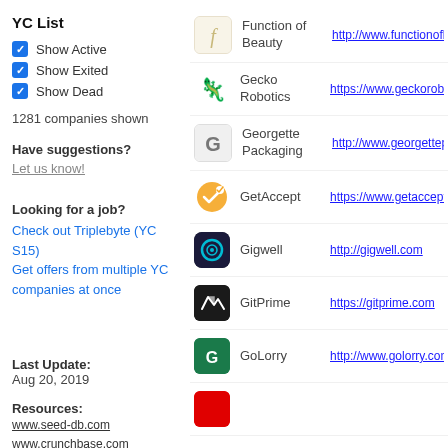YC List
Show Active
Show Exited
Show Dead
1281 companies shown
Have suggestions?
Let us know!
Looking for a job?
Check out Triplebyte (YC S15) Get offers from multiple YC companies at once
Last Update: Aug 20, 2019
Resources: www.seed-db.com www.crunchbase.com www.techcrunch.com
| Logo | Company | URL |
| --- | --- | --- |
| f | Function of Beauty | http://www.functionofbea... |
| gecko | Gecko Robotics | https://www.geckoroboti... |
| G | Georgette Packaging | http://www.georgettepac... |
| check | GetAccept | https://www.getaccept.co... |
| circle | Gigwell | http://gigwell.com |
| arrow | GitPrime | https://gitprime.com |
| G2 | GoLorry | http://www.golorry.com |